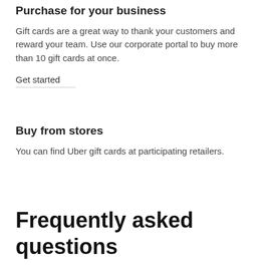Purchase for your business
Gift cards are a great way to thank your customers and reward your team. Use our corporate portal to buy more than 10 gift cards at once.
Get started
Buy from stores
You can find Uber gift cards at participating retailers.
Frequently asked questions